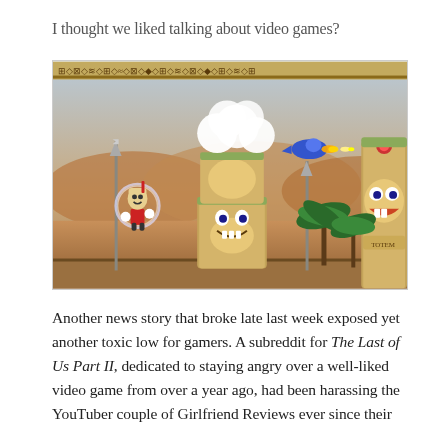I thought we liked talking about video games?
[Figure (screenshot): Screenshot from the video game Cuphead showing cartoon-style animated characters: a player character in red with a parry halo, two stacked totem pole-like boss enemies with expressive faces, a blue plane character shooting, and detailed desert/ancient-themed background with palm trees and distant landscape.]
Another news story that broke late last week exposed yet another toxic low for gamers. A subreddit for The Last of Us Part II, dedicated to staying angry over a well-liked video game from over a year ago, had been harassing the YouTuber couple of Girlfriend Reviews ever since their